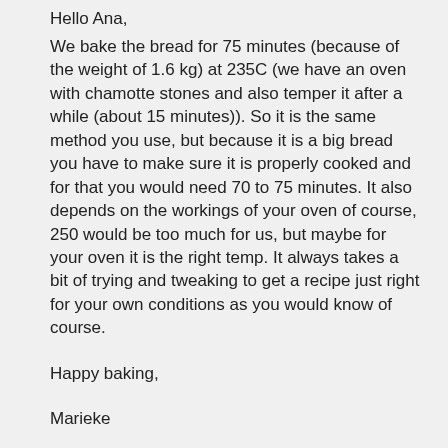Hello Ana,
We bake the bread for 75 minutes (because of the weight of 1.6 kg) at 235C (we have an oven with chamotte stones and also temper it after a while (about 15 minutes)). So it is the same method you use, but because it is a big bread you have to make sure it is properly cooked and for that you would need 70 to 75 minutes. It also depends on the workings of your oven of course, 250 would be too much for us, but maybe for your oven it is the right temp. It always takes a bit of trying and tweaking to get a recipe just right for your own conditions as you would know of course.
Happy baking,
Marieke